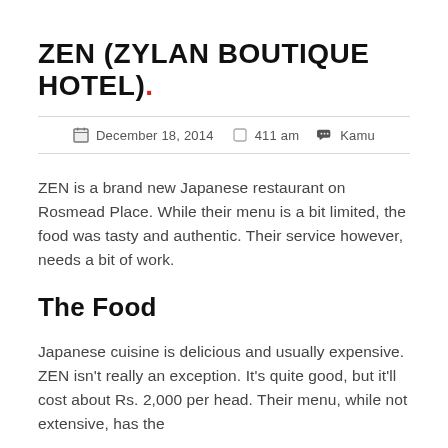ZEN (ZYLAN BOUTIQUE HOTEL).
December 18, 2014   411 am   Kamu
ZEN is a brand new Japanese restaurant on Rosmead Place. While their menu is a bit limited, the food was tasty and authentic. Their service however, needs a bit of work.
The Food
Japanese cuisine is delicious and usually expensive. ZEN isn't really an exception. It's quite good, but it'll cost about Rs. 2,000 per head. Their menu, while not extensive, has the